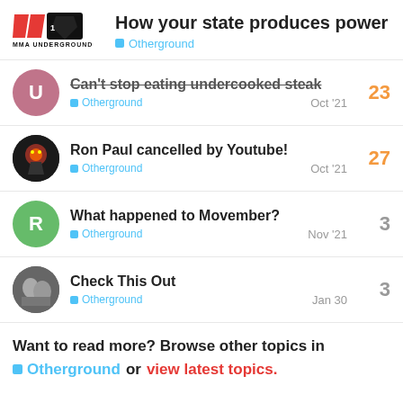How your state produces power — Otherground
Can't stop eating undercooked steak — Otherground — Oct '21 — 23
Ron Paul cancelled by Youtube! — Otherground — Oct '21 — 27
What happened to Movember? — Otherground — Nov '21 — 3
Check This Out — Otherground — Jan 30 — 3
Want to read more? Browse other topics in Otherground or view latest topics.